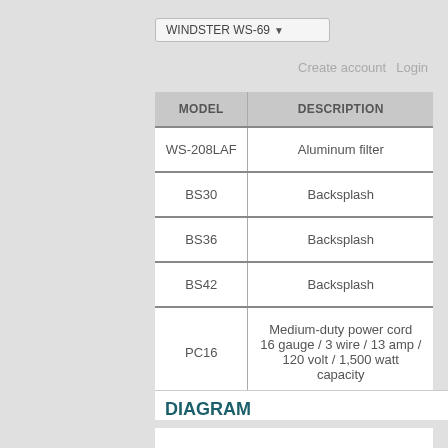WINDSTER WS-69 (dropdown)
Create account  Login
| MODEL | DESCRIPTION |
| --- | --- |
| WS-208LAF | Aluminum filter |
| BS30 | Backsplash |
| BS36 | Backsplash |
| BS42 | Backsplash |
| PC16 | Medium-duty power cord 16 gauge / 3 wire / 13 amp / 120 volt / 1,500 watt capacity |
DIAGRAM